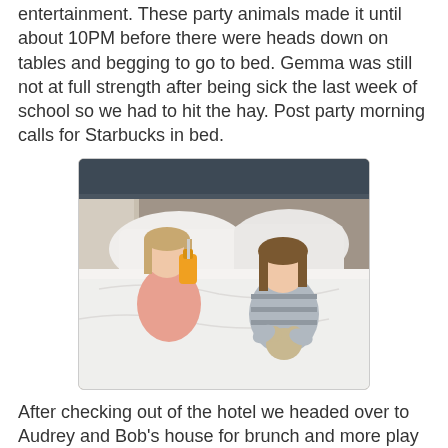entertainment. These party animals made it until about 10PM before there were heads down on tables and begging to go to bed. Gemma was still not at full strength after being sick the last week of school so we had to hit the hay. Post party morning calls for Starbucks in bed.
[Figure (photo): Two young girls in a hotel bed, one in a pink top drinking from an orange juice bottle, the other in a grey striped top holding a stuffed animal, white bedding and pillows, dark headboard visible.]
After checking out of the hotel we headed over to Audrey and Bob's house for brunch and more play time with cousins. This is a picture of the cousin babies that were all born in 2008. Five of us cousins all had babies the same year! We had a big gathering when they were all babies at Grandma Great's house and that was the last time we managed to get pictures of them all together!! Now they are all turning 8